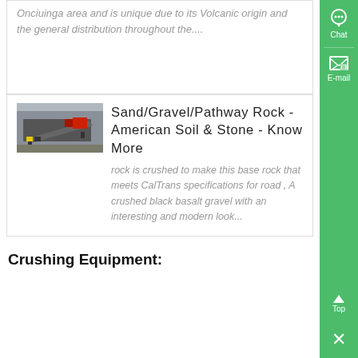Onciuinga area and is unique due to its Volcanic origin and the general distribution throughout the....
[Figure (photo): Photo of a metal gravel/rock screening machine or conveyor equipment outdoors]
Sand/Gravel/Pathway Rock - American Soil & Stone - Know More
rock is crushed to make this base rock that meets CalTrans specifications for road , A crushed black basalt gravel with an interesting and modern look...
Crushing Equipment: